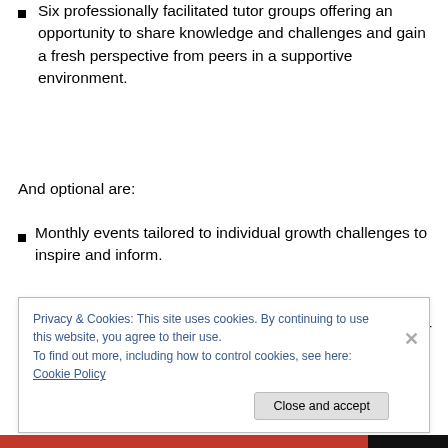Six professionally facilitated tutor groups offering an opportunity to share knowledge and challenges and gain a fresh perspective from peers in a supportive environment.
And optional are:
Monthly events tailored to individual growth challenges to inspire and inform.
Four networking events bringing together successful high-growth founders, influencers and decision makers within the public and private sector to facilitate
Privacy & Cookies: This site uses cookies. By continuing to use this website, you agree to their use.
To find out more, including how to control cookies, see here: Cookie Policy
Close and accept